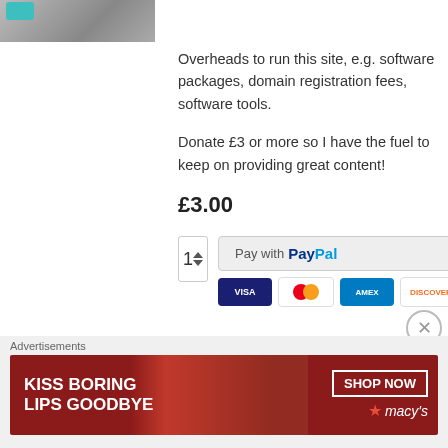[Figure (photo): Partial product/cat image at top left, cut off]
Overheads to run this site, e.g. software packages, domain registration fees, software tools.
Donate £3 or more so I have the fuel to keep on providing great content!
£3.00
[Figure (infographic): Purchase row: quantity selector (1) with up/down arrows, and PayPal payment button with VISA, Mastercard, AMEX, Discover card icons]
Advertisements
[Figure (photo): Macy's advertisement banner: KISS BORING LIPS GOODBYE with a woman's face showing red lips, SHOP NOW button and Macy's star logo on dark red background]